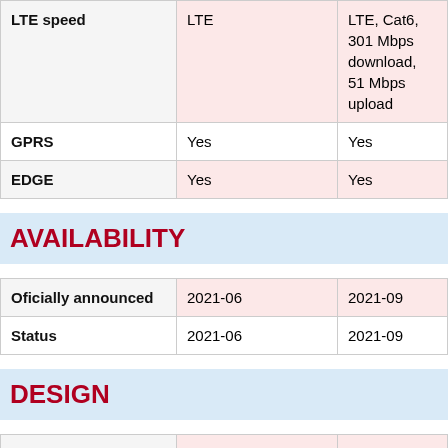|  | Col1 | Col2 |
| --- | --- | --- |
| LTE speed | LTE | LTE, Cat6, 301 Mbps download, 51 Mbps upload |
| GPRS | Yes | Yes |
| EDGE | Yes | Yes |
AVAILABILITY
|  | Col1 | Col2 |
| --- | --- | --- |
| Oficially announced | 2021-06 | 2021-09 |
| Status | 2021-06 | 2021-09 |
DESIGN
|  | Col1 | Col2 |
| --- | --- | --- |
| Build | Plastic | Metal, polycarbonate |